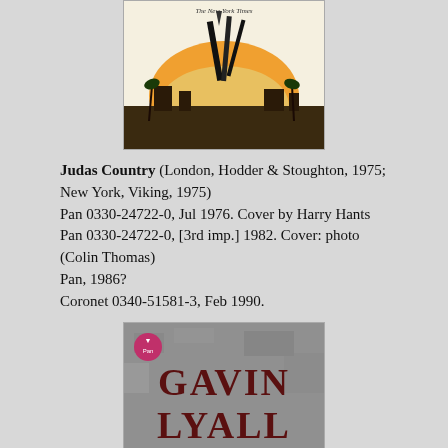[Figure (illustration): Book cover of Judas Country showing abstract illustration with guns and palm trees against orange sunset background, with 'The New York Times' text at top]
Judas Country (London, Hodder & Stoughton, 1975; New York, Viking, 1975)
Pan 0330-24722-0, Jul 1976. Cover by Harry Hants
Pan 0330-24722-0, [3rd imp.] 1982. Cover: photo (Colin Thomas)
Pan, 1986?
Coronet 0340-51581-3, Feb 1990.
[Figure (photo): Book cover of The Secret Servant by Gavin Lyall, Pan paperback edition, showing author name in large dark red letters on grey textured background with 'THE SECRET SERVANT' at bottom]